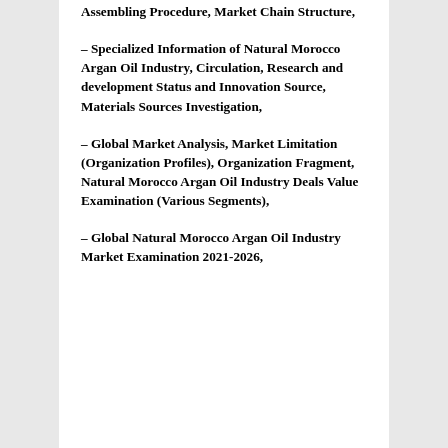Assembling Procedure, Market Chain Structure,
– Specialized Information of Natural Morocco Argan Oil Industry, Circulation, Research and development Status and Innovation Source, Materials Sources Investigation,
– Global Market Analysis, Market Limitation (Organization Profiles), Organization Fragment, Natural Morocco Argan Oil Industry Deals Value Examination (Various Segments),
– Global Natural Morocco Argan Oil Industry Market Examination 2021-2026,